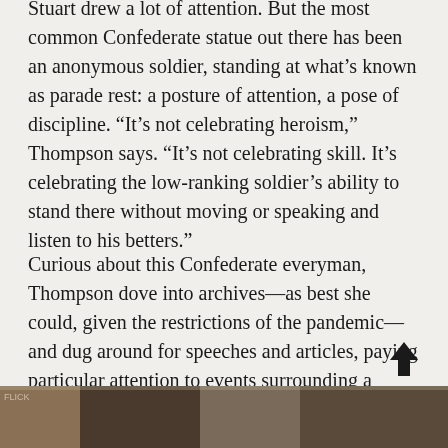Stuart drew a lot of attention. But the most common Confederate statue out there has been an anonymous soldier, standing at what's known as parade rest: a posture of attention, a pose of discipline. “It’s not celebrating heroism,” Thompson says. “It’s not celebrating skill. It’s celebrating the low-ranking soldier’s ability to stand there without moving or speaking and listen to his betters.”
Curious about this Confederate everyman, Thompson dove into archives—as best she could, given the restrictions of the pandemic—and dug around for speeches and articles, paying particular attention to events surrounding a particular statue’s dedication. She landed on a remarkable hypothesis—that these anonymous Confederate statues were erected to suppress the rights of white workers.
[Figure (photo): Photo strip at bottom of page, partially visible, dark tones]